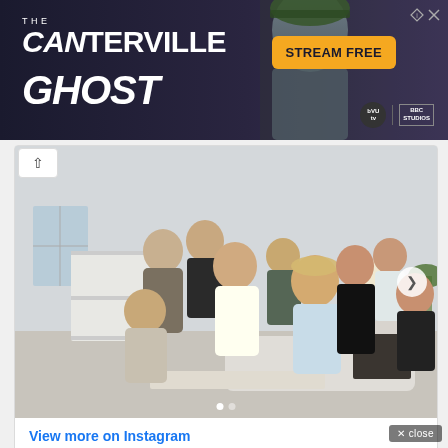[Figure (photo): Advertisement banner for 'The Canterville Ghost' streaming show with person in helmet, orange 'STREAM FREE' button, BritBox and BBC Studios logos]
[Figure (photo): Instagram embedded post showing a group photo of approximately 9 people seated and standing in a modern living room setting]
View more on Instagram
[Figure (other): Instagram action icons: heart (like), comment bubble, share, and save/bookmark icons]